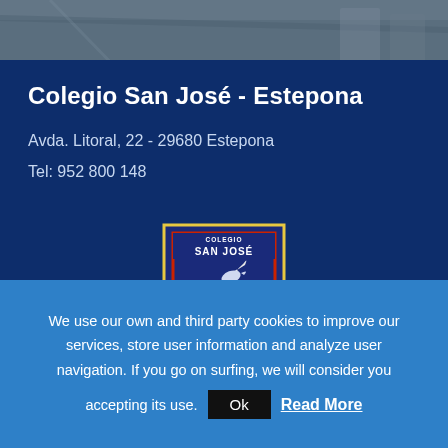[Figure (photo): Dark grayish-blue aerial or panoramic photo background at the top of the page]
Colegio San José - Estepona
Avda. Litoral, 22 - 29680 Estepona
Tel: 952 800 148
[Figure (logo): Colegio San José school crest/logo: shield shape with dark blue border and red inner border, featuring an open book with quill pen, dove, and letters 'SAN JOSÉ' at top, on dark blue background]
We use our own and third party cookies to improve our services, store user information and analyze user navigation. If you go on surfing, we will consider you accepting its use.
Ok
Read More